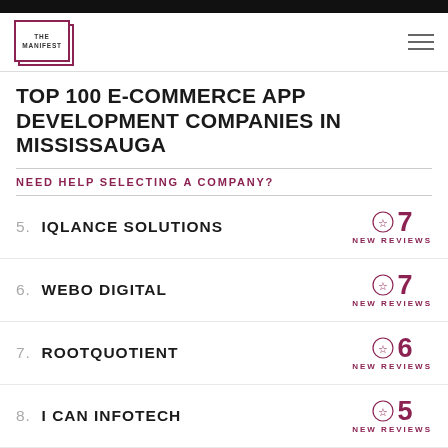THE MANIFEST
TOP 100 E-COMMERCE APP DEVELOPMENT COMPANIES IN MISSISSAUGA
NEED HELP SELECTING A COMPANY?
5. IQLANCE SOLUTIONS — 7 NEW REVIEWS
6. WEBO DIGITAL — 7 NEW REVIEWS
7. ROOTQUOTIENT — 6 NEW REVIEWS
8. I CAN INFOTECH — 5 NEW REVIEWS